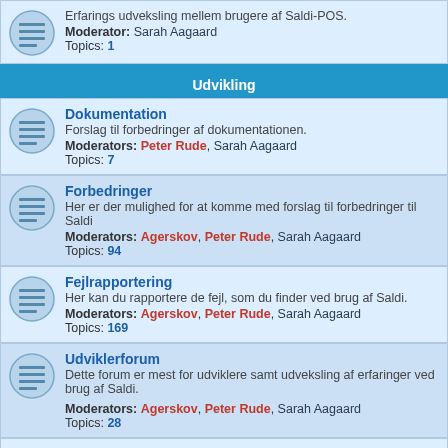Erfarings udveksling mellem brugere af Saldi-POS.
Moderator: Sarah Aagaard
Topics: 1
Udvikling
Dokumentation
Forslag til forbedringer af dokumentationen.
Moderators: Peter Rude, Sarah Aagaard
Topics: 7
Forbedringer
Her er der mulighed for at komme med forslag til forbedringer til Saldi
Moderators: Agerskov, Peter Rude, Sarah Aagaard
Topics: 94
Fejlrapportering
Her kan du rapportere de fejl, som du finder ved brug af Saldi.
Moderators: Agerskov, Peter Rude, Sarah Aagaard
Topics: 169
Udviklerforum
Dette forum er mest for udviklere samt udveksling af erfaringer ved brug af Saldi.
Moderators: Agerskov, Peter Rude, Sarah Aagaard
Topics: 28
Infrastruktur
Information og diskussion omkring infrastrukturen for Saldi-projektet.
Moderators: Agerskov, Sarah Aagaard
Topics: 6
Beta 2.0 (Historisk)